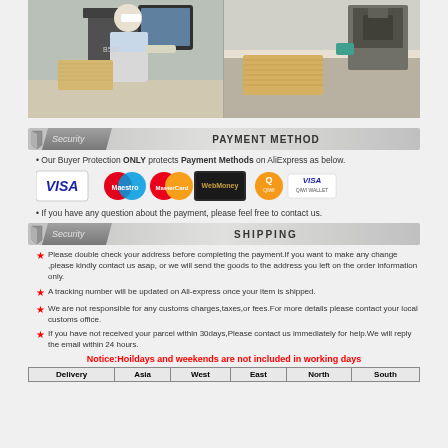[Figure (photo): Factory scene showing a worker in white cap operating machinery, with cardboard sheets stacked nearby. Two panels side by side showing manufacturing equipment.]
Security   PAYMENT METHOD
Our Buyer Protection ONLY protects Payment Methods on AliExpress as below.
[Figure (logo): Payment method logos: VISA, Maestro, MasterCard, WebMoney, QIWI WALLET VISA]
If you have any question about the payment, please feel free to contact us.
Security   SHIPPING
Please double check your address before completing the payment.If you want to make any change ,please kindly contact us asap, or we will send the goods to the address you left on the order information only.
A tracking number will be updated on Ali-express once your item is shipped.
We are not responsible for any customs charges,taxes,or fees.For more details please contact your local customs office.
If you have not received your parcel within 30days,Please contact us immediately for help.We will reply the email within 24 hours.
Notice:Hoildays and weekends are not included in working days
| Delivery | Asia | West | East | North | South |
| --- | --- | --- | --- | --- | --- |